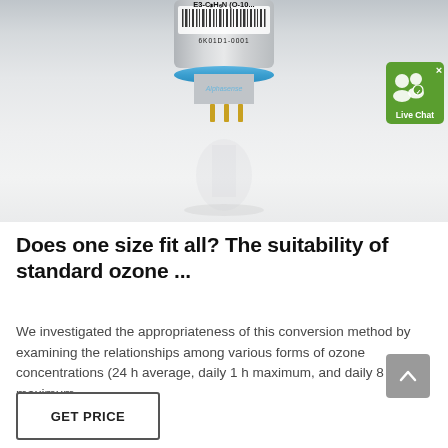[Figure (photo): Close-up photo of an ozone gas sensor component (small cylindrical electronic sensor) with label showing chemical formula E3-C3H6N (O-10...) and barcode 6K01D1-0001, against a light grey/white background. A Live Chat badge overlay is in the upper right corner.]
Does one size fit all? The suitability of standard ozone ...
We investigated the appropriateness of this conversion method by examining the relationships among various forms of ozone concentrations (24 h average, daily 1 h maximum, and daily 8 h maximum ...